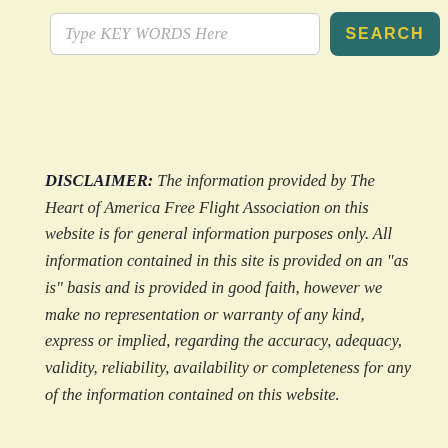[Figure (screenshot): Search input box with placeholder text 'Type KEY WORDS Here' and a teal Search button with yellow text]
DISCLAIMER: The information provided by The Heart of America Free Flight Association on this website is for general information purposes only. All information contained in this site is provided on an "as is" basis and is provided in good faith, however we make no representation or warranty of any kind, express or implied, regarding the accuracy, adequacy, validity, reliability, availability or completeness for any of the information contained on this website.